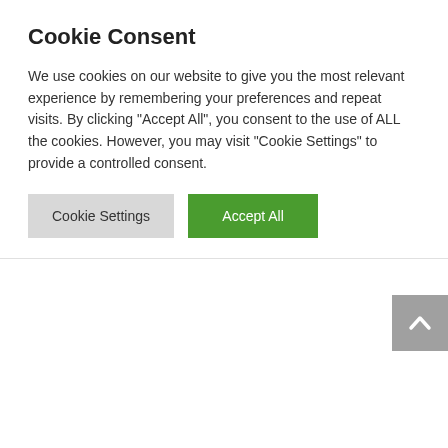Cookie Consent
We use cookies on our website to give you the most relevant experience by remembering your preferences and repeat visits. By clicking “Accept All”, you consent to the use of ALL the cookies. However, you may visit “Cookie Settings” to provide a controlled consent.
[Figure (screenshot): Two buttons: 'Cookie Settings' (gray) and 'Accept All' (green)]
[Figure (other): Gray scroll-to-top button with upward chevron arrow, positioned at bottom right]